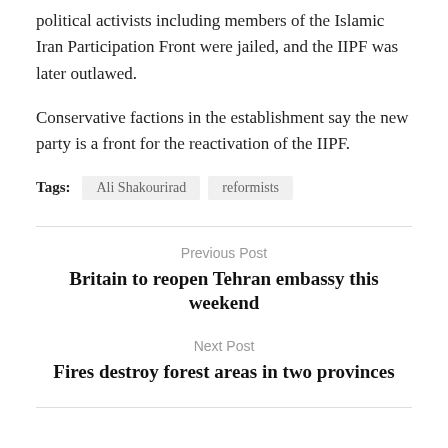political activists including members of the Islamic Iran Participation Front were jailed, and the IIPF was later outlawed.
Conservative factions in the establishment say the new party is a front for the reactivation of the IIPF.
Tags: Ali Shakourirad   reformists
Previous Post
Britain to reopen Tehran embassy this weekend
Next Post
Fires destroy forest areas in two provinces